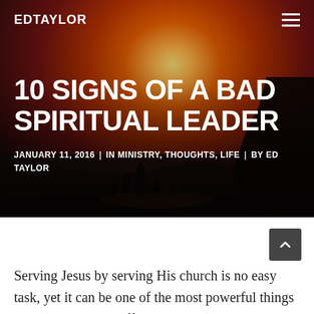EDTAYLOR
[Figure (photo): Dramatic sunset over coastal rock formations with the sun glowing orange and red near the horizon over the ocean. Dark silhouetted sea stacks visible in the water. Sky is deep red and orange.]
10 SIGNS OF A BAD SPIRITUAL LEADER
JANUARY 11, 2016  |  IN MINISTRY, THOUGHTS, LIFE  |  BY ED TAYLOR
Serving Jesus by serving His church is no easy task, yet it can be one of the most powerful things a person can do to affect eternity! You and